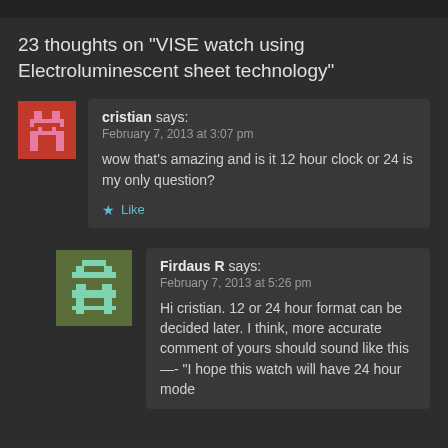23 thoughts on “VISE watch using Electroluminescent sheet technology”
cristian says:
February 7, 2013 at 3:07 pm
wow that's amazing and is it 12 hour clock or 24 is my only question?
★ Like
Firdaus R says:
February 7, 2013 at 5:26 pm
Hi cristian. 12 or 24 hour format can be decided later. I think, more accurate comment of yours should sound like this —- “I hope this watch will have 24 hour mode